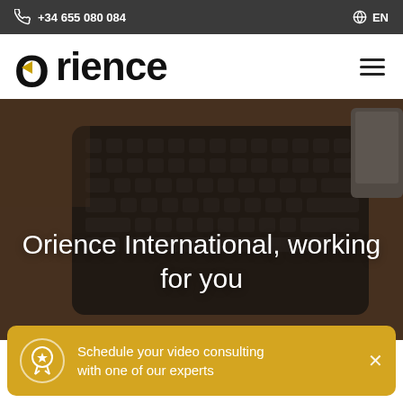+34 655 080 084   EN
[Figure (logo): Orience logo with golden arrow and hamburger menu icon]
[Figure (photo): Overhead photo of person typing on a black keyboard on a brown desk, with a monitor partially visible]
Orience International, working for you
Schedule your video consulting with one of our experts